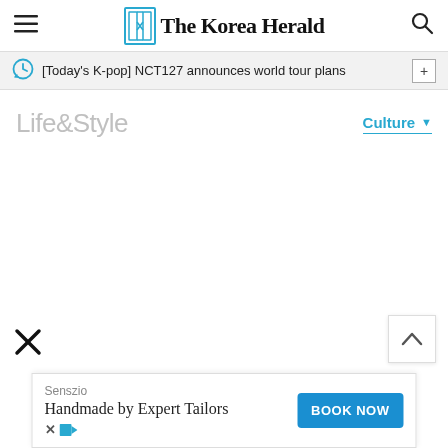The Korea Herald
[Today's K-pop] NCT127 announces world tour plans
Life&Style
Culture
[Figure (other): Close/dismiss button (X) in bottom left corner]
[Figure (other): Scroll to top button with upward arrow in bottom right]
[Figure (other): Advertisement banner for Senszio - Handmade by Expert Tailors with BOOK NOW button]